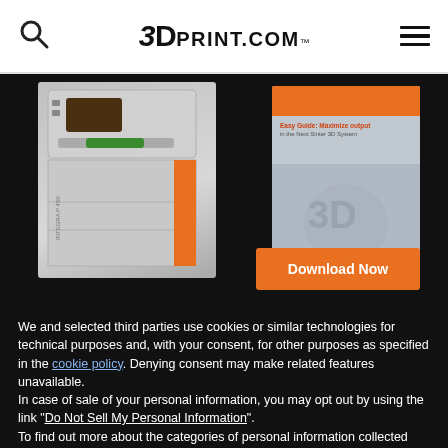3DPrint.com
[Figure (photo): 3D printer machine (INTEGRA P 450) with orange accent panel on dark background, alongside a product brochure and a Download Now button]
We and selected third parties use cookies or similar technologies for technical purposes and, with your consent, for other purposes as specified in the cookie policy. Denying consent may make related features unavailable.
In case of sale of your personal information, you may opt out by using the link "Do Not Sell My Personal Information".
To find out more about the categories of personal information collected and the purposes for which such information will be used, please refer to our privacy policy. You can consent to the use of such technologies by using the “Accept” button, by scrolling this page, by interacting with any link or button outside of this notice or by continuing to browse otherwise.
Reject
Accept
Learn more and customize